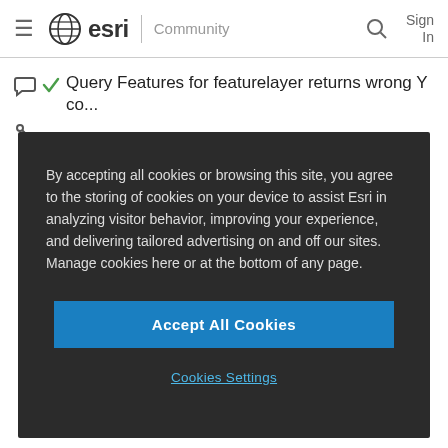esri Community
Query Features for featurelayer returns wrong Y co...
By accepting all cookies or browsing this site, you agree to the storing of cookies on your device to assist Esri in analyzing visitor behavior, improving your experience, and delivering tailored advertising on and off our sites. Manage cookies here or at the bottom of any page.
Accept All Cookies
Cookies Settings